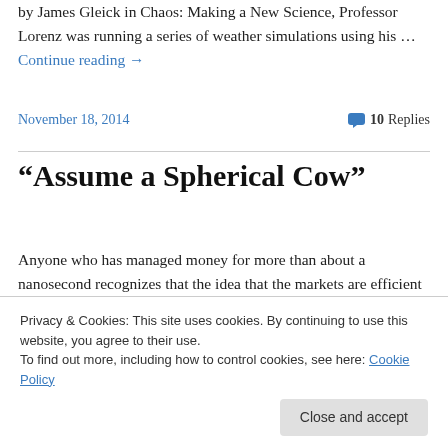by James Gleick in Chaos: Making a New Science, Professor Lorenz was running a series of weather simulations using his … Continue reading →
November 18, 2014
10 Replies
“Assume a Spherical Cow”
Anyone who has managed money for more than about a nanosecond recognizes that the idea that the markets are efficient is more than a social injustice of misguided...
Privacy & Cookies: This site uses cookies. By continuing to use this website, you agree to their use.
To find out more, including how to control cookies, see here: Cookie Policy